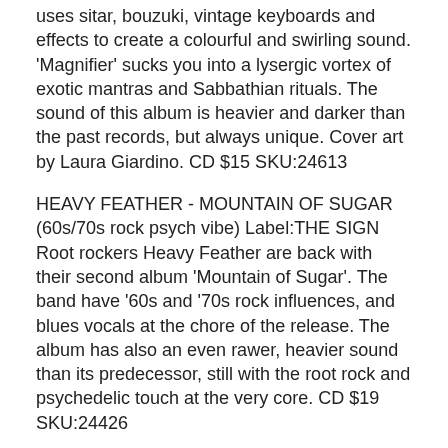uses sitar, bouzuki, vintage keyboards and effects to create a colourful and swirling sound. 'Magnifier' sucks you into a lysergic vortex of exotic mantras and Sabbathian rituals. The sound of this album is heavier and darker than the past records, but always unique. Cover art by Laura Giardino. CD $15 SKU:24613
HEAVY FEATHER - MOUNTAIN OF SUGAR (60s/70s rock psych vibe) Label:THE SIGN Root rockers Heavy Feather are back with their second album 'Mountain of Sugar'. The band have '60s and '70s rock influences, and blues vocals at the chore of the release. The album has also an even rawer, heavier sound than its predecessor, still with the root rock and psychedelic touch at the very core. CD $19 SKU:24426
DUKES OF KENT -WELCOME TO THE OAST HOUSE (blend of rock/psych/power pop/folk) Label:SUGARBUSH Recorded between 2010 and 2012, this great album is the